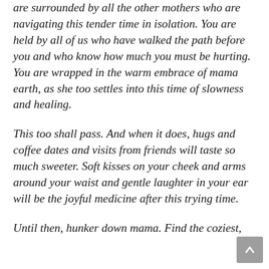are surrounded by all the other mothers who are navigating this tender time in isolation. You are held by all of us who have walked the path before you and who know how much you must be hurting. You are wrapped in the warm embrace of mama earth, as she too settles into this time of slowness and healing.
This too shall pass. And when it does, hugs and coffee dates and visits from friends will taste so much sweeter. Soft kisses on your cheek and arms around your waist and gentle laughter in your ear will be the joyful medicine after this trying time.
Until then, hunker down mama. Find the coziest,